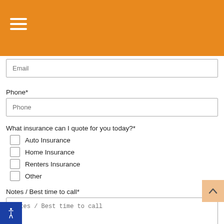[Figure (screenshot): Orange header bar with hamburger menu icon (three white horizontal lines)]
Email (placeholder text in input field)
Phone*
Phone (placeholder text in input field)
What insurance can I quote for you today?*
Auto Insurance
Home Insurance
Renters Insurance
Other
Notes / Best time to call*
Notes / Best time to call (placeholder text in textarea)